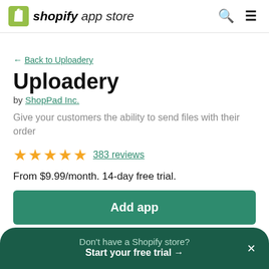shopify app store
← Back to Uploadery
Uploadery
by ShopPad Inc.
Give your customers the ability to send files with their order
★★★★★ 383 reviews
From $9.99/month. 14-day free trial.
Add app
Don't have a Shopify store? Start your free trial →